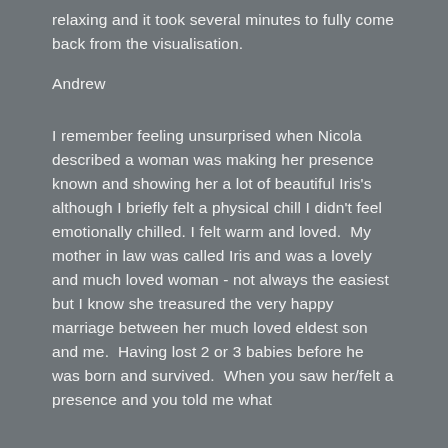relaxing and it took several minutes to fully come back from the visualisation.
Andrew
I remember feeling unsurprised when Nicola described a woman was making her presence known and showing her a lot of beautiful Iris's although I briefly felt a physical chill I didn't feel emotionally chilled. I felt warm and loved.  My mother in law was called Iris and was a lovely and much loved woman - not always the easiest but I know she treasured the very happy marriage between her much loved eldest son and me.  Having lost 2 or 3 babies before he was born and survived.  When you saw her/felt a presence and you told me what